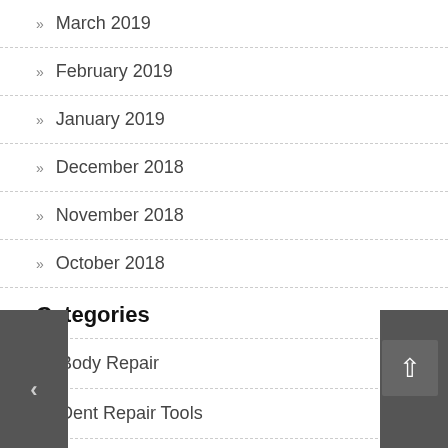» March 2019
» February 2019
» January 2019
» December 2018
» November 2018
» October 2018
Categories
▶ Body Repair
▶ Dent Repair Tools
▶ Hail Repair
▶ Interior Repair
▶ Protect Your Paint